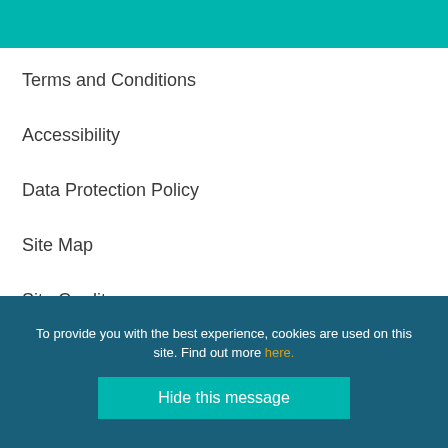Terms and Conditions
Accessibility
Data Protection Policy
Site Map
Site Credits
Submit Event
To provide you with the best experience, cookies are used on this site. Find out more here.
Hide this message